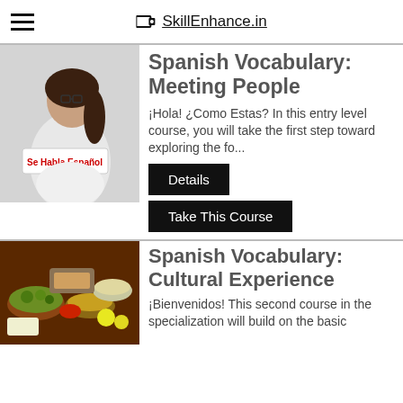SkillEnhance.in
Spanish Vocabulary: Meeting People
¡Hola! ¿Como Estas? In this entry level course, you will take the first step toward exploring the fo...
Spanish Vocabulary: Cultural Experience
¡Bienvenidos! This second course in the specialization will build on the basic